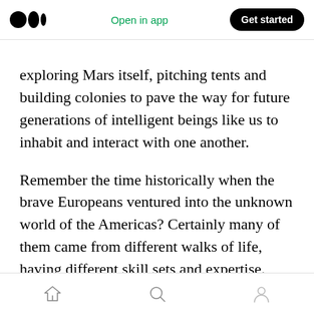Medium logo | Open in app | Get started
exploring Mars itself, pitching tents and building colonies to pave the way for future generations of intelligent beings like us to inhabit and interact with one another.
Remember the time historically when the brave Europeans ventured into the unknown world of the Americas? Certainly many of them came from different walks of life, having different skill sets and expertise. Then they created a new society that is so promising. They got tired of the old world in Europe.
Home | Search | Profile